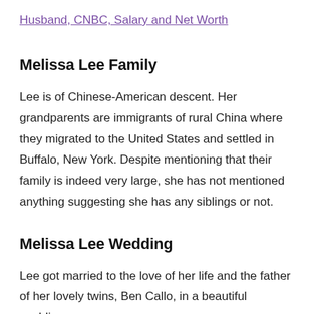Husband, CNBC, Salary and Net Worth
Melissa Lee Family
Lee is of Chinese-American descent. Her grandparents are immigrants of rural China where they migrated to the United States and settled in Buffalo, New York. Despite mentioning that their family is indeed very large, she has not mentioned anything suggesting she has any siblings or not.
Melissa Lee Wedding
Lee got married to the love of her life and the father of her lovely twins, Ben Callo, in a beautiful wedding